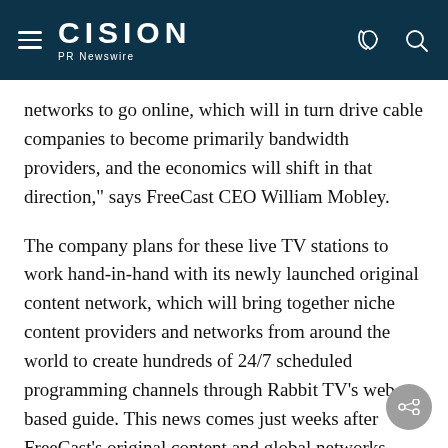CISION PR Newswire
networks to go online, which will in turn drive cable companies to become primarily bandwidth providers, and the economics will shift in that direction," says FreeCast CEO William Mobley.
The company plans for these live TV stations to work hand-in-hand with its newly launched original content network, which will bring together niche content providers and networks from around the world to create hundreds of 24/7 scheduled programming channels through Rabbit TV's web-based guide. This news comes just weeks after FreeCast's original content and global networks